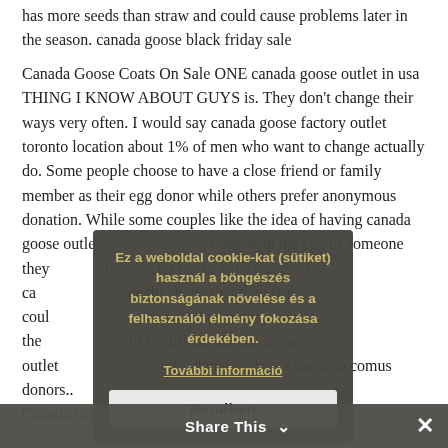has more seeds than straw and could cause problems later in the season. canada goose black friday sale
Canada Goose Coats On Sale ONE canada goose outlet in usa THING I KNOW ABOUT GUYS is. They don't change their ways very often. I would say canada goose factory outlet toronto location about 1% of men who want to change actually do. Some people choose to have a close friend or family member as their egg donor while others prefer anonymous donation. While some couples like the idea of having canada goose outlet baby with the egg of someone they others prefer not to have any ties to ca the donor that they fear coul later on. For couples where the to contribute canada goose outlet sperm, donor embryos can also come us donors.. Canada Goose Coats On Sale
Ez a weboldal cookie-kat (sütiket) használ a böngészés biztonságának növelése és a felhasználói élmény fokozása érdekében.
További információ
Rendben
Share This ∨ ✕